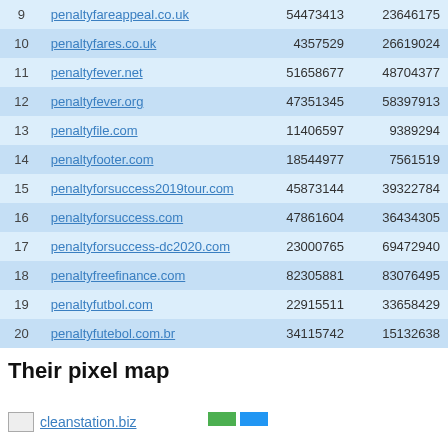| # | Domain | Col3 | Col4 |
| --- | --- | --- | --- |
| 9 | penaltyfareappeal.co.uk | 54473413 | 23646175 |
| 10 | penaltyfares.co.uk | 4357529 | 26619024 |
| 11 | penaltyfever.net | 51658677 | 48704377 |
| 12 | penaltyfever.org | 47351345 | 58397913 |
| 13 | penaltyfile.com | 11406597 | 9389294 |
| 14 | penaltyfooter.com | 18544977 | 7561519 |
| 15 | penaltyforsuccess2019tour.com | 45873144 | 39322784 |
| 16 | penaltyforsuccess.com | 47861604 | 36434305 |
| 17 | penaltyforsuccess-dc2020.com | 23000765 | 69472940 |
| 18 | penaltyfreefinance.com | 82305881 | 83076495 |
| 19 | penaltyfutbol.com | 22915511 | 33658429 |
| 20 | penaltyfutebol.com.br | 34115742 | 15132638 |
Their pixel map
cleanstation.biz